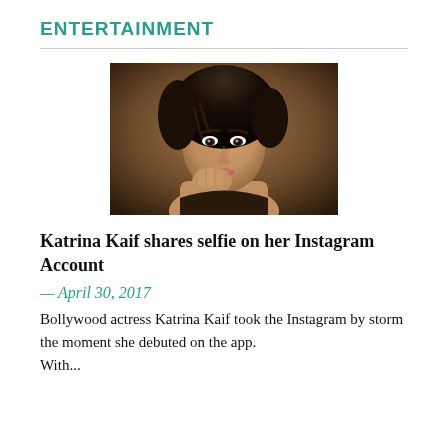ENTERTAINMENT
[Figure (photo): Close-up photo of Bollywood actress Katrina Kaif with dark hair, hand near face, against a warm brown background.]
Katrina Kaif shares selfie on her Instagram Account
— April 30, 2017
Bollywood actress Katrina Kaif took the Instagram by storm the moment she debuted on the app. With...